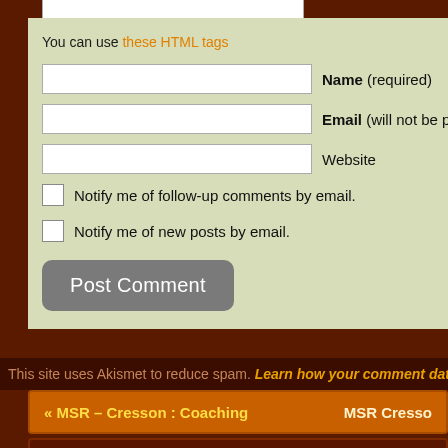You can use these HTML tags
Name (required)
Email (will not be published)
Website
Notify me of follow-up comments by email.
Notify me of new posts by email.
Post Comment
This site uses Akismet to reduce spam. Learn how your comment data is...
« MSR – Cresson : Coaching   MSR Cresson...
Copyright © 2022 Tom Hampton
Powered by WordPress